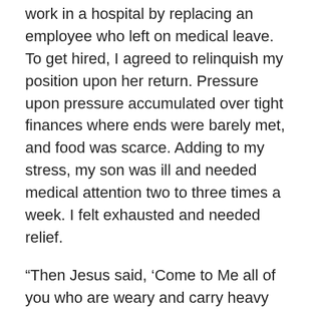work in a hospital by replacing an employee who left on medical leave. To get hired, I agreed to relinquish my position upon her return. Pressure upon pressure accumulated over tight finances where ends were barely met, and food was scarce. Adding to my stress, my son was ill and needed medical attention two to three times a week. I felt exhausted and needed relief.
“Then Jesus said, ‘Come to Me all of you who are weary and carry heavy burdens, and I will give you rest. Take My yoke upon you. Let me teach you, because I am humble and gentle, and you will find rest for your souls. For My yoke fits perfectly, and the burden I give you is light.’” (2)
I had to learn the Lord would be my strength in weakness, He would be the power in my life to overcome, He would shoulder my burden. Also, Jesus can lessen the weight of your burdens too. His yoke fits perfectly within the scope